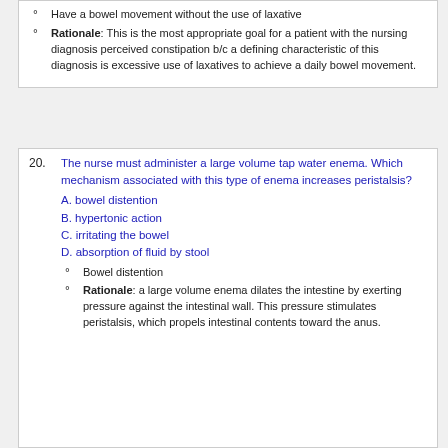Have a bowel movement without the use of laxative
Rationale: This is the most appropriate goal for a patient with the nursing diagnosis perceived constipation b/c a defining characteristic of this diagnosis is excessive use of laxatives to achieve a daily bowel movement.
20. The nurse must administer a large volume tap water enema. Which mechanism associated with this type of enema increases peristalsis?
A. bowel distention
B. hypertonic action
C. irritating the bowel
D. absorption of fluid by stool
Bowel distention
Rationale: a large volume enema dilates the intestine by exerting pressure against the intestinal wall. This pressure stimulates peristalsis, which propels intestinal contents toward the anus.